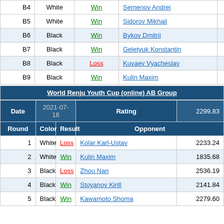| Round | Color | Result | Opponent | Rating |
| --- | --- | --- | --- | --- |
| B4 | White | Win | Semenov Andrei | 1802.99 |
| B5 | White | Win | Sidorov Mikhail | 2189.69 |
| B6 | Black | Win | Bykov Dmitrii | 1755.34 |
| B7 | Black | Win | Geletyuk Konstantin | 1674.68 |
| B8 | Black | Loss | Kuvaev Vyacheslav | 2055.55 |
| B9 | Black | Win | Kulin Maxim | 1835.72 |
World Renju Youth Cup (online) AB Group
| Date | 2021-07-16 | Rating | 2299.83 |
| --- | --- | --- | --- |
| Round | Color | Result | Opponent |  |
| 1 | White | Loss | Kolar Karl-Ustav | 2233.24 |
| 2 | White | Win | Kulin Maxim | 1835.68 |
| 3 | Black | Loss | Zhou Nan | 2536.19 |
| 4 | Black | Win | Stoyanov Kirill | 2141.84 |
| 5 | Black | Win | Kawamoto Shoma | 2279.60 |